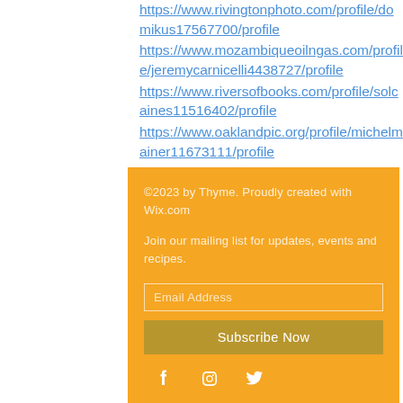https://www.rivingtonphoto.com/profile/domikus17567700/profile
https://www.mozambiqueoilngas.com/profile/jeremycarnicelli4438727/profile
https://www.riversofbooks.com/profile/solcaines11516402/profile
https://www.oaklandpic.org/profile/michelmainer11673111/profile
©2023 by Thyme. Proudly created with Wix.com
Join our mailing list for updates, events and recipes.
Email Address
Subscribe Now